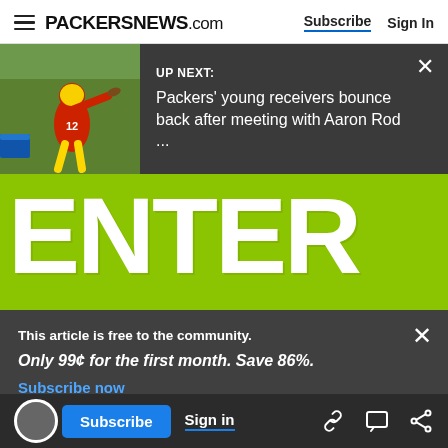PACKERSNEWS.com  Subscribe  Sign In
[Figure (screenshot): UP NEXT banner with football player image and text: UP NEXT: Packers' young receivers bounce back after meeting with Aaron Rod ...]
[Figure (infographic): Green promotional banner with large white text reading ENTER TO WIN]
This article is free to the community.
Only 99¢ for the first month. Save 86%.
Subscribe now
Subscribe  Sign in